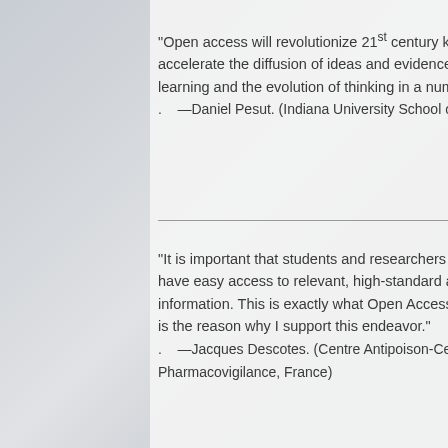"Open access will revolutionize 21st century knowledge and accelerate the diffusion of ideas and evidence that sustain learning and the evolution of thinking in a number of d...
—Daniel Pesut. (Indiana University School of Nurs...
"It is important that students and researchers from all have easy access to relevant, high-standard and time information. This is exactly what Open Access Journa is the reason why I support this endeavor."
—Jacques Descotes. (Centre Antipoison-Centre d Pharmacovigilance, France)
RELATED UPCOMING EVENTS